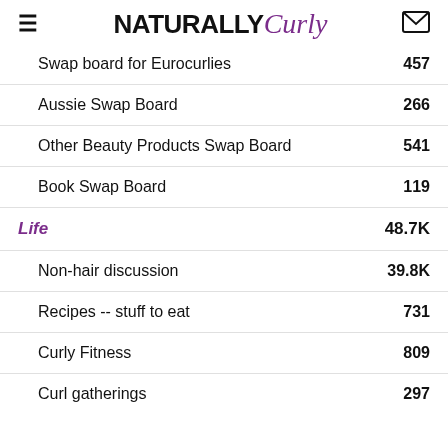NATURALLY Curly
Swap board for Eurocurlies | 457
Aussie Swap Board | 266
Other Beauty Products Swap Board | 541
Book Swap Board | 119
Life | 48.7K
Non-hair discussion | 39.8K
Recipes -- stuff to eat | 731
Curly Fitness | 809
Curl gatherings | 297